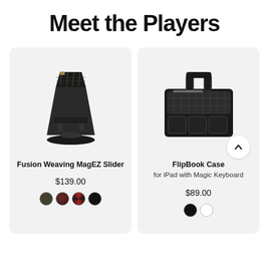Meet the Players
[Figure (photo): Fusion Weaving MagEZ Slider product photo — black angular charging stand with carbon fiber pattern insert]
Fusion Weaving MagEZ Slider
$139.00
[Figure (photo): FlipBook Case for iPad with Magic Keyboard product photo — black briefcase-style folio bag with handle and mesh pocket]
FlipBook Case
for iPad with Magic Keyboard
$89.00